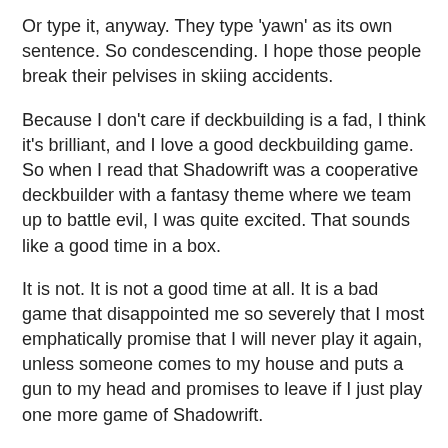Or type it, anyway. They type 'yawn' as its own sentence. So condescending. I hope those people break their pelvises in skiing accidents.
Because I don't care if deckbuilding is a fad, I think it's brilliant, and I love a good deckbuilding game. So when I read that Shadowrift was a cooperative deckbuilder with a fantasy theme where we team up to battle evil, I was quite excited. That sounds like a good time in a box.
It is not. It is not a good time at all. It is a bad game that disappointed me so severely that I most emphatically promise that I will never play it again, unless someone comes to my house and puts a gun to my head and promises to leave if I just play one more game of Shadowrift.
Possibly the reason I am so upset with Shadowrift is because the game had so much promise when I opened the box. There are a variety of hero powers you can buy, like magical attacks and healing and hitting things very hard. You should be able to create exactly the kind of hero you want, and specialize in different things to maximize your